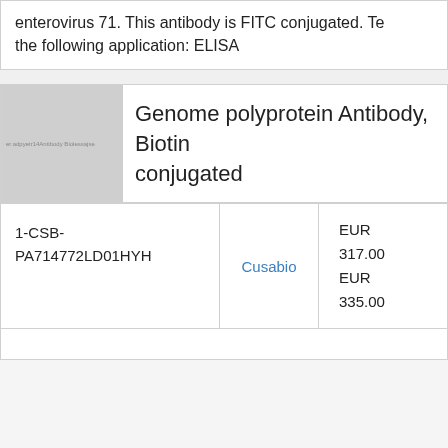enterovirus 71. This antibody is FITC conjugated. Te the following application: ELISA
[Figure (photo): Thumbnail image placeholder for Genome polyprotein Antibody, Biotin conjugated product]
Genome polyprotein Antibody, Biotin conjugated
| ID | Vendor | Price |  |
| --- | --- | --- | --- |
| 1-CSB-PA714772LD01HYH | Cusabio | EUR 317.00
EUR 335.00 |  |